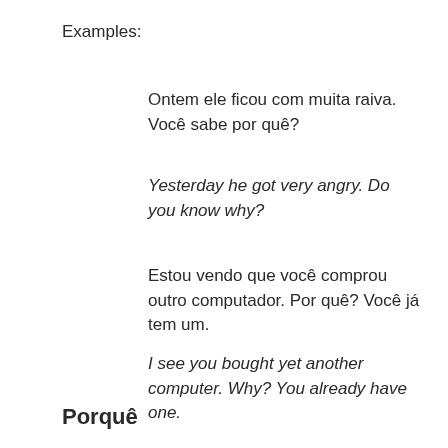Examples:
Ontem ele ficou com muita raiva. Você sabe por quê?
Yesterday he got very angry. Do you know why?
Estou vendo que você comprou outro computador. Por quê? Você já tem um.
I see you bought yet another computer. Why? You already have one.
Porquê